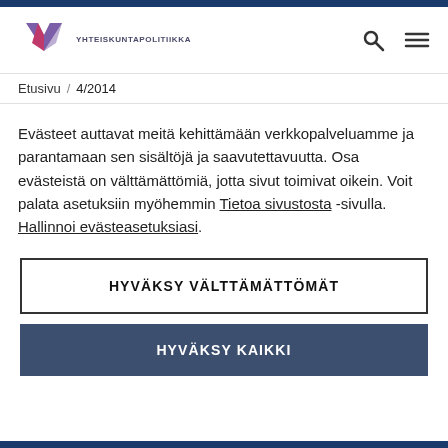[Figure (logo): Yhteiskuntapolitiikka journal logo with stylized Y/arrow mark in purple and pink, with text YHTEISKUNTAPOLITIIKKA]
Etusivu / 4/2014
Evästeet auttavat meitä kehittämään verkkopalveluamme ja parantamaan sen sisältöjä ja saavutettavuutta. Osa evästeistä on välttämättömiä, jotta sivut toimivat oikein. Voit palata asetuksiin myöhemmin Tietoa sivustosta -sivulla. Hallinnoi evästeasetuksiasi.
HYVÄKSY VÄLTTÄMÄTTÖMÄT
HYVÄKSY KAIKKI